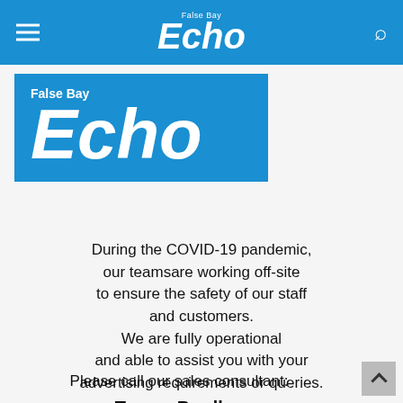False Bay Echo — navigation bar with hamburger menu and search icon
[Figure (logo): False Bay Echo logo — large white italic 'Echo' text on blue background with 'False Bay' label above]
During the COVID-19 pandemic, our teamsare working off-site to ensure the safety of our staff and customers. We are fully operational and able to assist you with your advertising requirements or queries.
Please call our sales consultant:
Tracey Bradley
Cell no: 072 100 9074
Email: tracey.bradley@inl.co.za